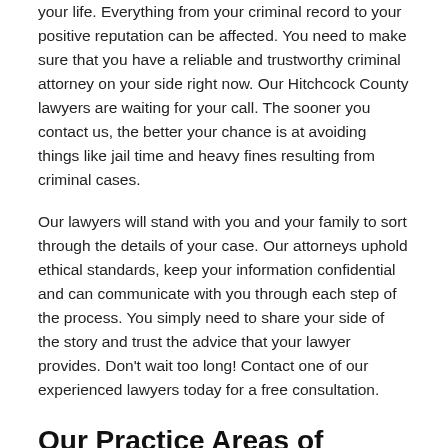your life. Everything from your criminal record to your positive reputation can be affected. You need to make sure that you have a reliable and trustworthy criminal attorney on your side right now. Our Hitchcock County lawyers are waiting for your call. The sooner you contact us, the better your chance is at avoiding things like jail time and heavy fines resulting from criminal cases.
Our lawyers will stand with you and your family to sort through the details of your case. Our attorneys uphold ethical standards, keep your information confidential and can communicate with you through each step of the process. You simply need to share your side of the story and trust the advice that your lawyer provides. Don't wait too long! Contact one of our experienced lawyers today for a free consultation.
Our Practice Areas of Criminal Law
The ideal attorney for your needs is the one who has the